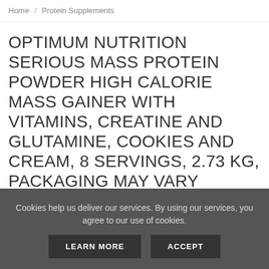Home / Protein Supplements
OPTIMUM NUTRITION SERIOUS MASS PROTEIN POWDER HIGH CALORIE MASS GAINER WITH VITAMINS, CREATINE AND GLUTAMINE, COOKIES AND CREAM, 8 SERVINGS, 2.73 KG, PACKAGING MAY VARY
[Figure (photo): Top portion of a black protein powder container/tub shown from above]
Cookies help us deliver our services. By using our services, you agree to our use of cookies.